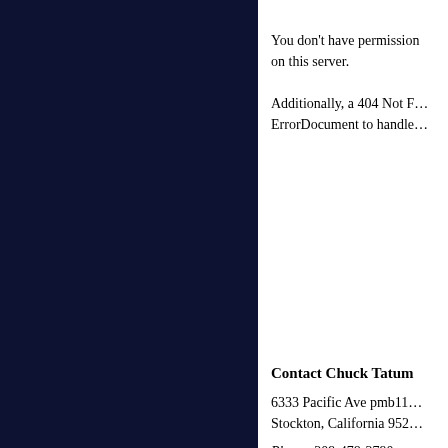You don't have permission to access the requested resource on this server.
Additionally, a 404 Not Found error was encountered while trying to use an ErrorDocument to handle the request.
Contact Chuck Tatum
6333 Pacific Ave pmb111
Stockton, California 9520
Phone: 209-478-2790